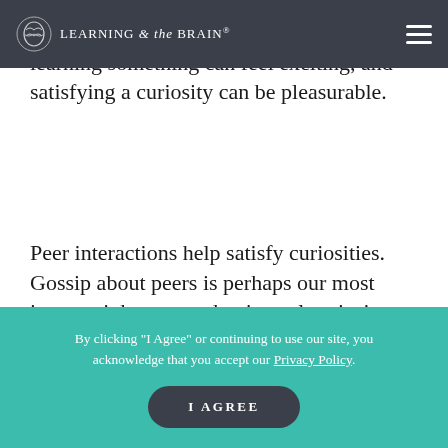Learning & the Brain® — navigation bar
Teachers can help students appreciate that learning something can feel exciting, and satisfying a curiosity can be pleasurable.
Peer interactions help satisfy curiosities. Gossip about peers is perhaps our most intense, inherent, and universal curiosity. Children are easily and deeply enchanted by storytelling. Stories about peers' circumstances and personal attributes can serve as a social glue and a way of learning cultural values and norms... is robust, there are age, gender, and cultural differences in type and amount of gossiping. There are also cultural differences in language...
By clicking "I Agree" or continuing to use our site, you acknowledge that you accept our Privacy Policy.